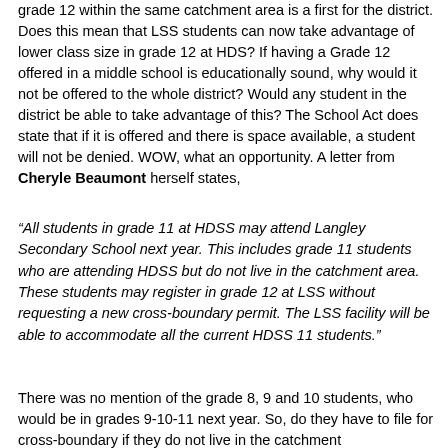grade 12 within the same catchment area is a first for the district. Does this mean that LSS students can now take advantage of lower class size in grade 12 at HDS? If having a Grade 12 offered in a middle school is educationally sound, why would it not be offered to the whole district? Would any student in the district be able to take advantage of this? The School Act does state that if it is offered and there is space available, a student will not be denied. WOW, what an opportunity. A letter from Cheryle Beaumont herself states,
“All students in grade 11 at HDSS may attend Langley Secondary School next year. This includes grade 11 students who are attending HDSS but do not live in the catchment area. These students may register in grade 12 at LSS without requesting a new cross-boundary permit. The LSS facility will be able to accommodate all the current HDSS 11 students.”
There was no mention of the grade 8, 9 and 10 students, who would be in grades 9-10-11 next year. So, do they have to file for cross-boundary if they do not live in the catchment